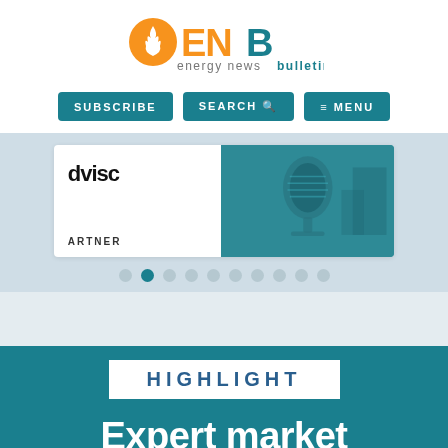[Figure (logo): ENB Energy News Bulletin logo with orange flame icon and teal/orange text]
[Figure (screenshot): Website navigation bar with Subscribe, Search, and Menu buttons in teal]
[Figure (screenshot): Slider card showing partial text 'dvisc' and 'ARTNER' on white card, with teal microphone image, and pagination dots below]
HIGHLIGHT
Expert market